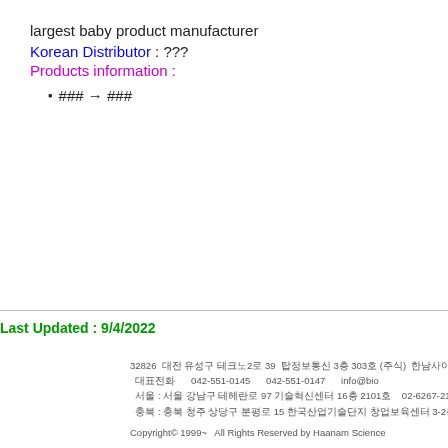largest baby product manufacturer
Korean Distributor : ???
Products information :
### → ###
Last Updated : 9/4/2022
32826  대전 유성구 테크노2로 39  탑정보통신 3층 303호 (주식)  한남사이언스
대표전화  042-551-0145  팩스 042-551-0147  info@bio...
서울 : 서울 강남구 테헤란로 97 기술혁신센터 16층 2101호  02-6267-2112  02-6...
충북 : 충북 청주 상당구 분평로 15 한국산업기술단지 창업보육센터 3-2층  043-731-0146
Copyright© 1999~  All Rights Reserved by Haanam Science